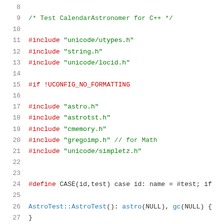Code listing lines 8-28: C++ source file for CalendarAstronomer test
8  (empty line)
9  /* Test CalendarAstronomer for C++ */
10 (empty line)
11 #include "unicode/utypes.h"
12 #include "string.h"
13 #include "unicode/locid.h"
14 (empty line)
15 #if !UCONFIG_NO_FORMATTING
16 (empty line)
17 #include "astro.h"
18 #include "astrotst.h"
19 #include "cmemory.h"
20 #include "gregoimp.h" // for Math
21 #include "unicode/simpletz.h"
22 (empty line)
23 (empty line)
24 #define CASE(id,test) case id: name = #test; if
25 (empty line)
26 AstroTest::AstroTest(): astro(NULL), gc(NULL) {
27 }
28 (empty line)